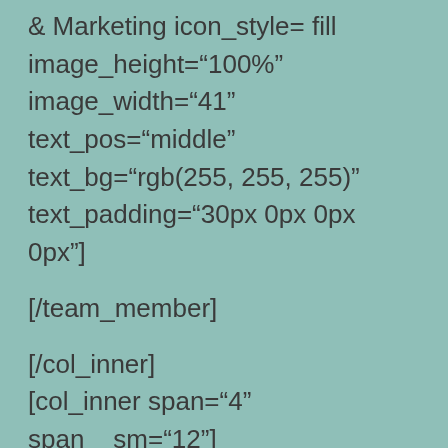& Marketing icon_style= fill image_height="100%" image_width="41" text_pos="middle" text_bg="rgb(255, 255, 255)" text_padding="30px 0px 0px 0px"]
[/team_member]
[/col_inner]
[col_inner span="4" span__sm="12"]
[team_member img="26020" style="vertical" name="2019 Finalist" title="Excellence in SEND for Music and Drama" icon_style="fill" image_height="31%" image_width="41" text_pos="middle" text_bg="rgb(255, 255,